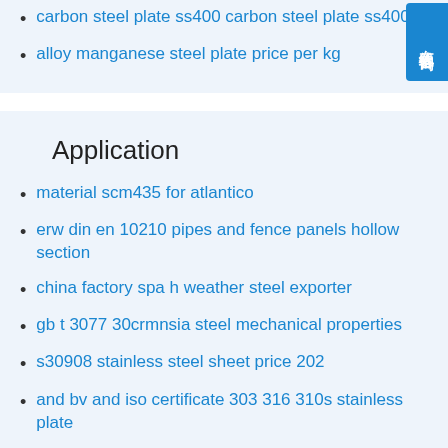carbon steel plate ss400 carbon steel plate ss400
alloy manganese steel plate price per kg
Application
material scm435 for atlantico
erw din en 10210 pipes and fence panels hollow section
china factory spa h weather steel exporter
gb t 3077 30crmnsia steel mechanical properties
s30908 stainless steel sheet price 202
and bv and iso certificate 303 316 310s stainless plate